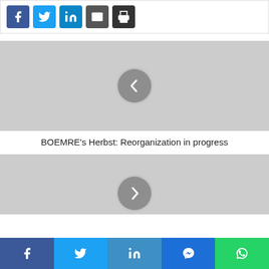[Figure (screenshot): Top share button bar with Facebook, Twitter, LinkedIn, Email, and Print buttons]
[Figure (screenshot): Gray image placeholder with a left-pointing chevron navigation circle button]
BOEMRE’s Herbst: Reorganization in progress
[Figure (screenshot): Gray image placeholder with a right-pointing chevron navigation circle button (partially visible)]
[Figure (screenshot): Bottom social share bar with Facebook, Twitter, LinkedIn, Messenger, and WhatsApp buttons]